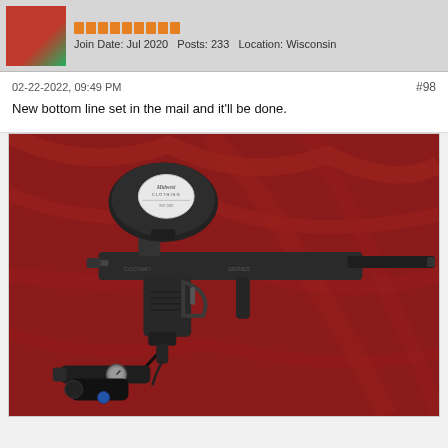Join Date: Jul 2020   Posts: 233   Location: Wisconsin
02-22-2022, 09:49 PM
#98
New bottom line set in the mail and it'll be done.
[Figure (photo): A black paintball marker (gun) with a black hopper/loader on top featuring a 'Midwest Clothing' sticker, a long barrel, and a bottom-line CO2/HPA tank setup, laid on a red surface.]